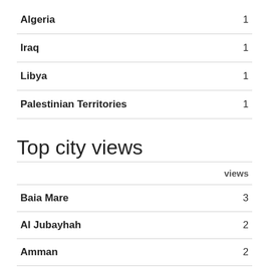|  |  |
| --- | --- |
| Algeria | 1 |
| Iraq | 1 |
| Libya | 1 |
| Palestinian Territories | 1 |
Top city views
|  | views |
| --- | --- |
| Baia Mare | 3 |
| Al Jubayhah | 2 |
| Amman | 2 |
| Tehrān (Gisha) | 2 |